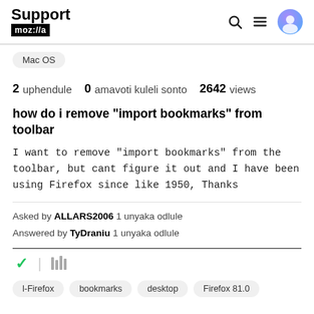Support moz://a
Mac OS
2 uphendule  0 amavoti kuleli sonto  2642 views
how do i remove "import bookmarks" from toolbar
I want to remove "import bookmarks" from the toolbar, but cant figure it out and I have been using Firefox since like 1950, Thanks
Asked by ALLARS2006 1 unyaka odlule
Answered by TyDraniu 1 unyaka odlule
l-Firefox  bookmarks  desktop  Firefox 81.0